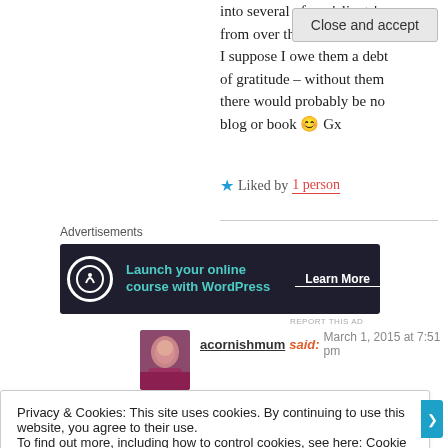into several of my 'clients' from over the years! I suppose I owe them a debt of gratitude – without them there would probably be no blog or book 😊 Gx
★ Liked by 1 person
[Figure (infographic): Advertisement banner with dark background: 'Launch your online course with WordPress' with a Learn More button and a logo icon]
acornishmum said: March 1, 2015 at 7:51 pm
Privacy & Cookies: This site uses cookies. By continuing to use this website, you agree to their use. To find out more, including how to control cookies, see here: Cookie Policy